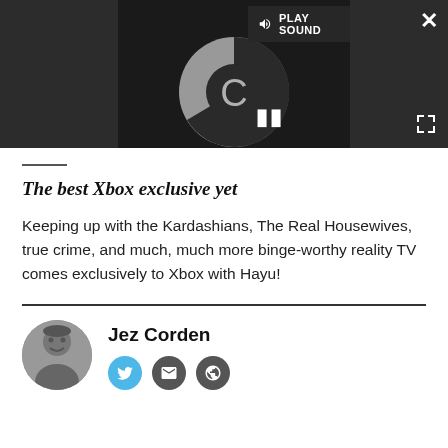[Figure (screenshot): Video player embedded in dark gray toolbar with loading spinner, play sound button, pause icon, close button, and expand button]
The best Xbox exclusive yet
Keeping up with the Kardashians, The Real Housewives, true crime, and much, much more binge-worthy reality TV comes exclusively to Xbox with Hayu!
Jez Corden